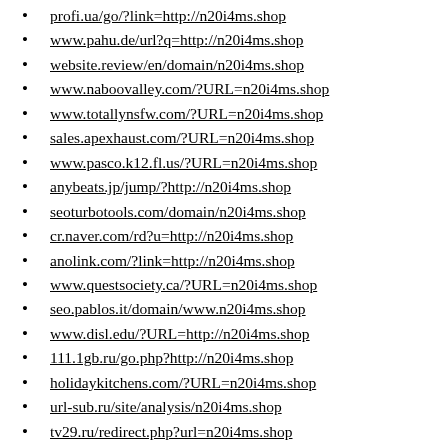profi.ua/go/?link=http://n20i4ms.shop
www.pahu.de/url?q=http://n20i4ms.shop
website.review/en/domain/n20i4ms.shop
www.naboovalley.com/?URL=n20i4ms.shop
www.totallynsfw.com/?URL=n20i4ms.shop
sales.apexhaust.com/?URL=n20i4ms.shop
www.pasco.k12.fl.us/?URL=n20i4ms.shop
anybeats.jp/jump/?http://n20i4ms.shop
seoturbotools.com/domain/n20i4ms.shop
cr.naver.com/rd?u=http://n20i4ms.shop
anolink.com/?link=http://n20i4ms.shop
www.questsociety.ca/?URL=n20i4ms.shop
seo.pablos.it/domain/www.n20i4ms.shop
www.disl.edu/?URL=http://n20i4ms.shop
111.1gb.ru/go.php?http://n20i4ms.shop
holidaykitchens.com/?URL=n20i4ms.shop
url-sub.ru/site/analysis/n20i4ms.shop
tv29.ru/redirect.php?url=n20i4ms.shop
www.furntech.org.au/?URL=n20i4ms.shop